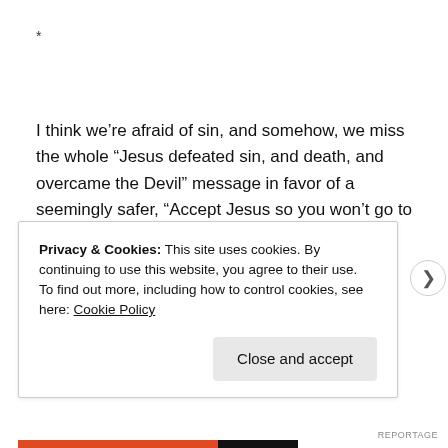*
I think we’re afraid of sin, and somehow, we miss the whole “Jesus defeated sin, and death, and overcame the Devil” message in favor of a seemingly safer, “Accept Jesus so you won’t go to Hell, and meanwhile, live a good life.” But this message only instills more fear, more legalism, more public charity but private sin.
Privacy & Cookies: This site uses cookies. By continuing to use this website, you agree to their use.
To find out more, including how to control cookies, see here: Cookie Policy
Close and accept